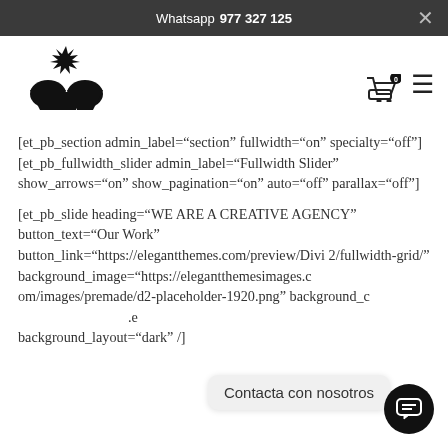Whatsapp 977 327 125
[Figure (logo): Black stylized logo of two figures with a starburst above, resembling the letters JL]
[et_pb_section admin_label="section" fullwidth="on" specialty="off"][et_pb_fullwidth_slider admin_label="Fullwidth Slider" show_arrows="on" show_pagination="on" auto="off" parallax="off"]
[et_pb_slide heading="WE ARE A CREATIVE AGENCY" button_text="Our Work" button_link="https://elegantthemes.com/preview/Divi2/fullwidth-grid/" background_image="https://elegantthemesimages.com/images/premade/d2-placeholder-1920.png" background_c .e background_layout="dark" /]
Contacta con nosotros